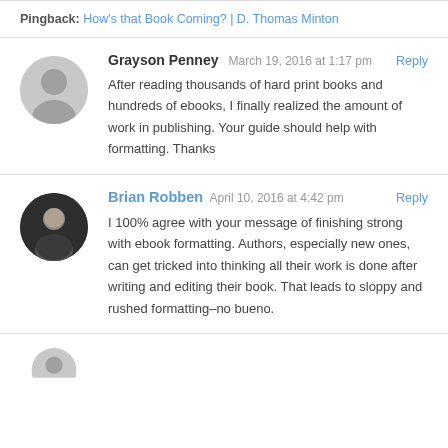Pingback: How's that Book Coming? | D. Thomas Minton
Grayson Penney   March 19, 2016 at 1:17 pm   Reply
After reading thousands of hard print books and hundreds of ebooks, I finally realized the amount of work in publishing. Your guide should help with formatting. Thanks
Brian Robben   April 10, 2016 at 4:42 pm   Reply
I 100% agree with your message of finishing strong with ebook formatting. Authors, especially new ones, can get tricked into thinking all their work is done after writing and editing their book. That leads to sloppy and rushed formatting–no bueno.